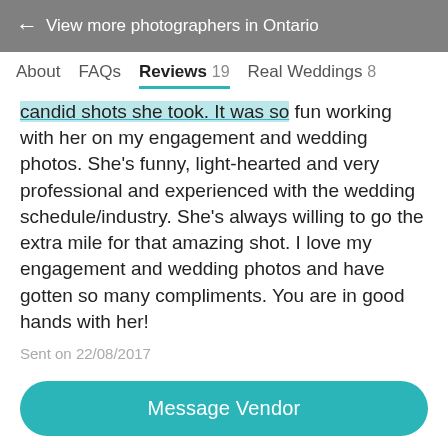← View more photographers in Ontario
About   FAQs   Reviews 19   Real Weddings 8
candid shots she took. It was so fun working with her on my engagement and wedding photos. She's funny, light-hearted and very professional and experienced with the wedding schedule/industry. She's always willing to go the extra mile for that amazing shot. I love my engagement and wedding photos and have gotten so many compliments. You are in good hands with her!
Sent on 22/08/2017
ZSUZSI PAL PHOTOGRAPHY'S REPLY:
Message Vendor